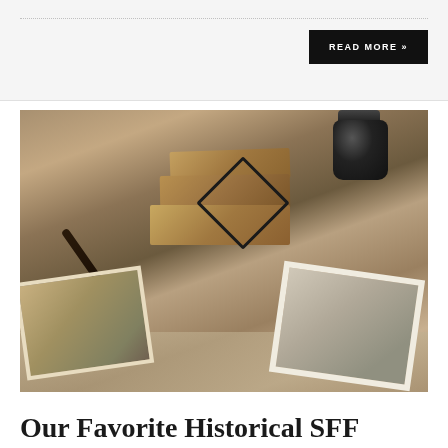READ MORE »
[Figure (photo): Stack of old leather-bound journals tied with black string, a calligraphy pen, vintage photographs, and a dark ink bottle arranged on a light surface.]
Our Favorite Historical SFF